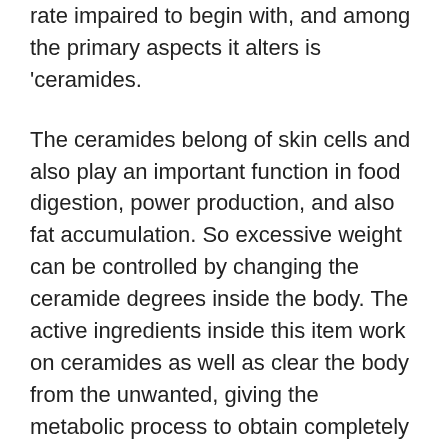rate impaired to begin with, and among the primary aspects it alters is 'ceramides.
The ceramides belong of skin cells and also play an important function in food digestion, power production, and also fat accumulation. So excessive weight can be controlled by changing the ceramide degrees inside the body. The active ingredients inside this item work on ceramides as well as clear the body from the unwanted, giving the metabolic process to obtain completely functional and also melt the fat gotten from the food.
When all of these calories are made use of to create power, there is little to no chance of fat buildup. This way, the body never ever puts on